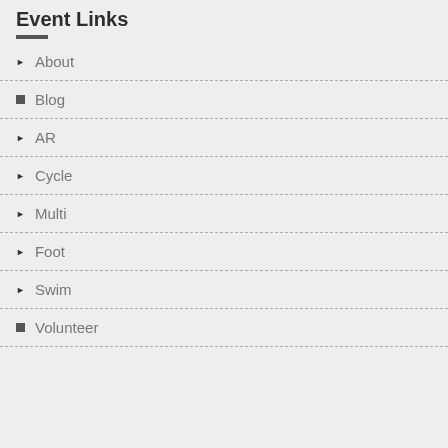Event Links
About
Blog
AR
Cycle
Multi
Foot
Swim
Volunteer